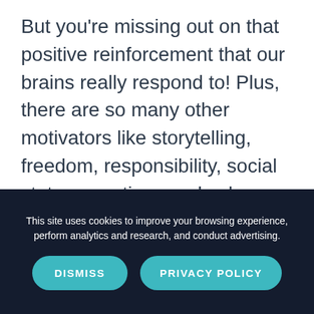But you're missing out on that positive reinforcement that our brains really respond to! Plus, there are so many other motivators like storytelling, freedom, responsibility, social status, emotions and values.
So, equip your CRM with
This site uses cookies to improve your browsing experience, perform analytics and research, and conduct advertising.
DISMISS
PRIVACY POLICY